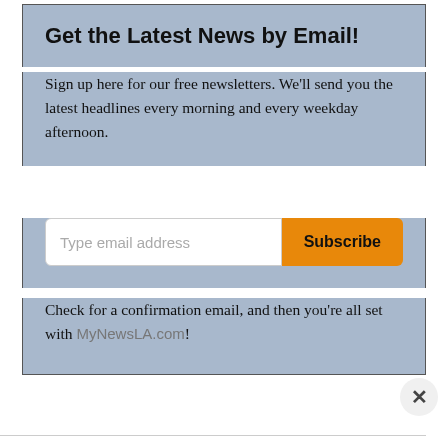Get the Latest News by Email!
Sign up here for our free newsletters. We'll send you the latest headlines every morning and every weekday afternoon.
Check for a confirmation email, and then you're all set with MyNewsLA.com!